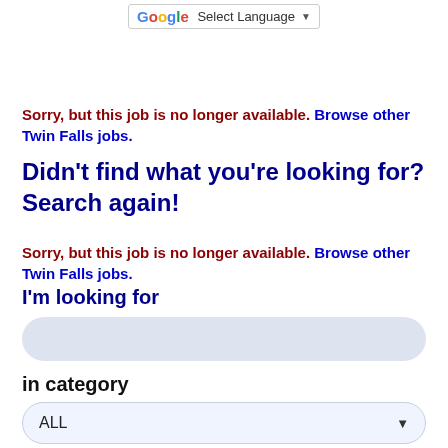G Select Language ▼
Sorry, but this job is no longer available. Browse other Twin Falls jobs.
Didn't find what you're looking for? Search again!
Sorry, but this job is no longer available. Browse other Twin Falls jobs.
I'm looking for
[Figure (other): Search input text field with rounded corners and light blue background]
in category
[Figure (other): Dropdown select box with 'ALL' selected and a down arrow, rounded corners, light blue background]